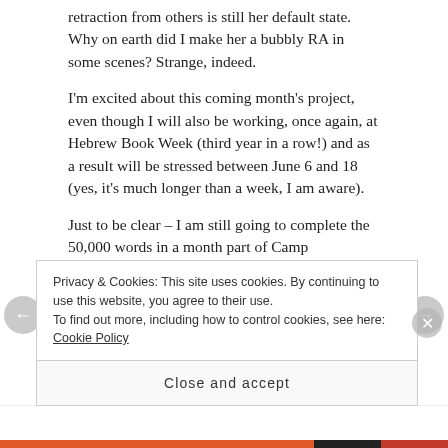retraction from others is still her default state. Why on earth did I make her a bubbly RA in some scenes? Strange, indeed.
I'm excited about this coming month's project, even though I will also be working, once again, at Hebrew Book Week (third year in a row!) and as a result will be stressed between June 6 and 18 (yes, it's much longer than a week, I am aware).
Just to be clear – I am still going to complete the 50,000 words in a month part of Camp NaNoWriMo.
Privacy & Cookies: This site uses cookies. By continuing to use this website, you agree to their use. To find out more, including how to control cookies, see here: Cookie Policy
Close and accept